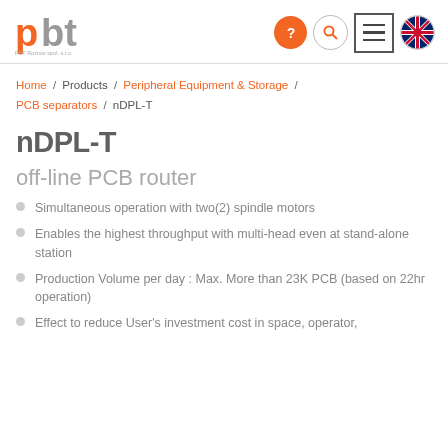[Figure (logo): PBT Roznov spol. s.r.o. company logo with orange P and gray bt letters]
Home / Products / Peripheral Equipment & Storage / PCB separators / nDPL-T
nDPL-T
off-line PCB router
Simultaneous operation with two(2) spindle motors
Enables the highest throughput with multi-head even at stand-alone station
Production Volume per day : Max. More than 23K PCB (based on 22hr operation)
Effect to reduce User's investment cost in space, operator,